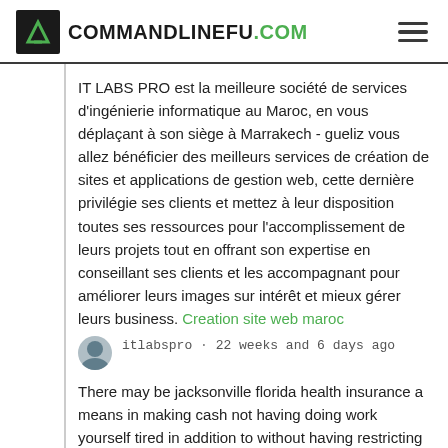COMMANDLINEFU.COM
IT LABS PRO est la meilleure société de services d'ingénierie informatique au Maroc, en vous déplaçant à son siège à Marrakech - gueliz vous allez bénéficier des meilleurs services de création de sites et applications de gestion web, cette dernière privilégie ses clients et mettez à leur disposition toutes ses ressources pour l'accomplissement de leurs projets tout en offrant son expertise en conseillant ses clients et les accompagnant pour améliorer leurs images sur intérêt et mieux gérer leurs business. Creation site web maroc
itlabspro · 22 weeks and 6 days ago
There may be jacksonville florida health insurance a means in making cash not having doing work yourself tired in addition to without having restricting your moment. You need to use the ability on the Online to